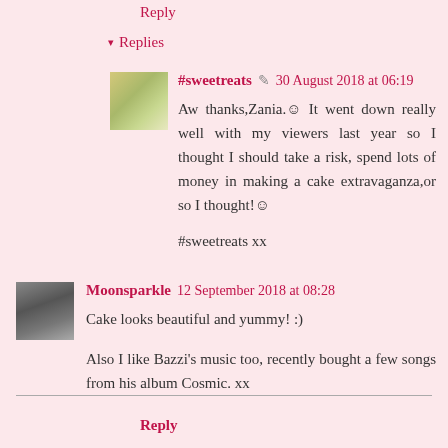Reply
▾ Replies
#sweetreats  30 August 2018 at 06:19
Aw thanks,Zania.☺ It went down really well with my viewers last year so I thought I should take a risk, spend lots of money in making a cake extravaganza,or so I thought!☺

#sweetreats xx
Moonsparkle  12 September 2018 at 08:28
Cake looks beautiful and yummy! :)

Also I like Bazzi's music too, recently bought a few songs from his album Cosmic. xx
Reply